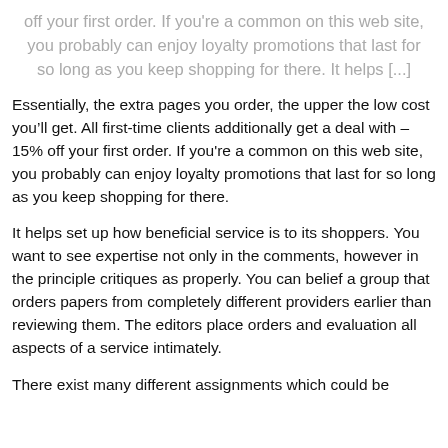off your first order. If you're a common on this web site, you probably can enjoy loyalty promotions that last for so long as you keep shopping for there. It helps [...]
Essentially, the extra pages you order, the upper the low cost you'll get. All first-time clients additionally get a deal with – 15% off your first order. If you're a common on this web site, you probably can enjoy loyalty promotions that last for so long as you keep shopping for there.
It helps set up how beneficial service is to its shoppers. You want to see expertise not only in the comments, however in the principle critiques as properly. You can belief a group that orders papers from completely different providers earlier than reviewing them. The editors place orders and evaluation all aspects of a service intimately.
There exist many different assignments which could be